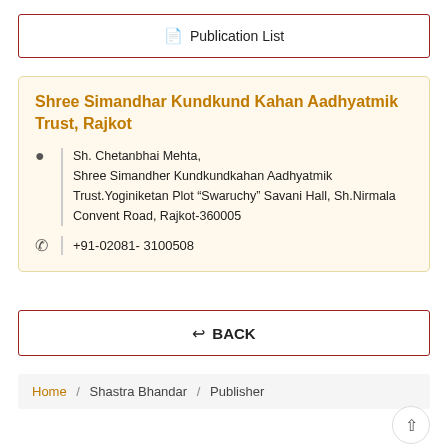Publication List
Shree Simandhar Kundkund Kahan Aadhyatmik Trust, Rajkot
Sh. Chetanbhai Mehta, Shree Simandher Kundkundkahan Aadhyatmik Trust.Yoginiketan Plot “Swaruchy” Savani Hall, Sh.Nirmala Convent Road, Rajkot-360005
+91-02081- 3100508
BACK
Home / Shastra Bhandar / Publisher